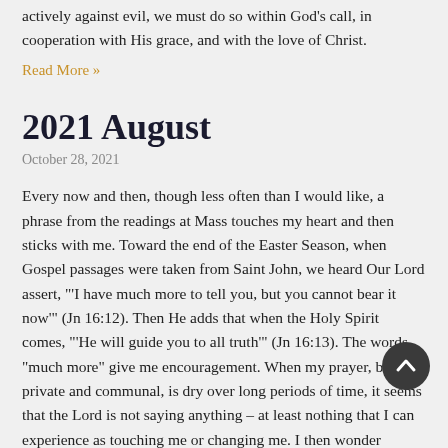actively against evil, we must do so within God's call, in cooperation with His grace, and with the love of Christ.
Read More »
2021 August
October 28, 2021
Every now and then, though less often than I would like, a phrase from the readings at Mass touches my heart and then sticks with me. Toward the end of the Easter Season, when Gospel passages were taken from Saint John, we heard Our Lord assert, "'I have much more to tell you, but you cannot bear it now'" (Jn 16:12). Then He adds that when the Holy Spirit comes, "'He will guide you to all truth'" (Jn 16:13). The words "much more" give me encouragement. When my prayer, both private and communal, is dry over long periods of time, it seems that the Lord is not saying anything – at least nothing that I can experience as touching me or changing me. I then wonder whether if I am being hard of heart and failing to listen. Perhaps the Lord has given up on